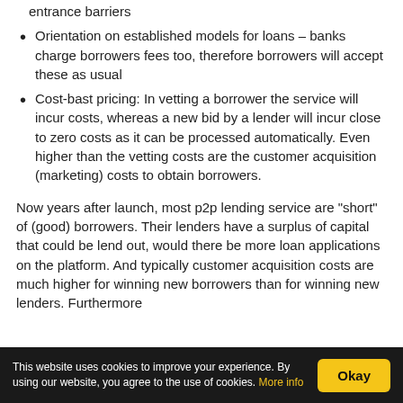entrance barriers
Orientation on established models for loans – banks charge borrowers fees too, therefore borrowers will accept these as usual
Cost-bast pricing: In vetting a borrower the service will incur costs, whereas a new bid by a lender will incur close to zero costs as it can be processed automatically. Even higher than the vetting costs are the customer acquisition (marketing) costs to obtain borrowers.
Now years after launch, most p2p lending service are “short” of (good) borrowers. Their lenders have a surplus of capital that could be lend out, would there be more loan applications on the platform. And typically customer acquisition costs are much higher for winning new borrowers than for winning new lenders. Furthermore
This website uses cookies to improve your experience. By using our website, you agree to the use of cookies. More info